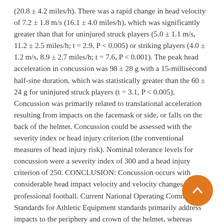(20.8 ± 4.2 miles/h). There was a rapid change in head velocity of 7.2 ± 1.8 m/s (16.1 ± 4.0 miles/h), which was significantly greater than that for uninjured struck players (5.0 ± 1.1 m/s, 11.2 ± 2.5 miles/h; t = 2.9, P < 0.005) or striking players (4.0 ± 1.2 m/s, 8.9 ± 2.7 miles/h; t = 7.6, P < 0.001). The peak head acceleration in concussion was 98 ± 28 g with a 15-millisecond half-sine duration, which was statistically greater than the 60 ± 24 g for uninjured struck players (t = 3.1, P < 0.005). Concussion was primarily related to translational acceleration resulting from impacts on the facemask or side, or falls on the back of the helmet. Concussion could be assessed with the severity index or head injury criterion (the conventional measures of head injury risk). Nominal tolerance levels for concussion were a severity index of 300 and a head injury criterion of 250. CONCLUSION: Concussion occurs with considerable head impact velocity and velocity changes in professional football. Current National Operating Committee on Standards for Athletic Equipment standards primarily address impacts to the periphery and crown of the helmet, whereas players are experiencing injuries from impacts to the facemask, side, and back of the helmet. More studies are needed to assess the performance of helmets in reducing concussion risks involving high-velocity and long-duration injury